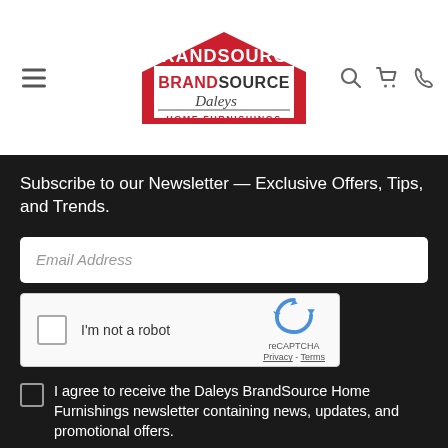[Figure (logo): BrandSource Daleys Home Furnishings logo with red house shape and cursive Daleys text]
Subscribe to our Newsletter — Exclusive Offers, Tips, and Trends.
Email Address
[Figure (other): reCAPTCHA widget with checkbox labeled I'm not a robot]
I agree to receive the Daleys BrandSource Home Furnishings newsletter containing news, updates, and promotional offers.
You can withdraw your consent at any time.